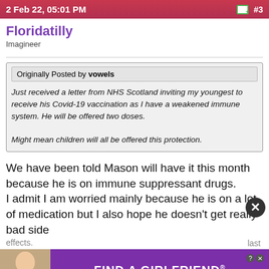2 Feb 22, 05:01 PM   #3
Floridatilly
Imagineer
Originally Posted by vowels
Just received a letter from NHS Scotland inviting my youngest to receive his Covid-19 vaccination as I have a weakened immune system. He will be offered two doses.
Might mean children will all be offered this protection.
We have been told Mason will have it this month because he is on immune suppressant drugs.
I admit I am worried mainly because he is on a lot of medication but I also hope he doesn't get really bad side effects. ... last July.
[Figure (screenshot): Advertisement banner showing 'FIND A GIRLFRIEND' by Clover app with photo of woman]
Our next WDW trip
I need to go back!